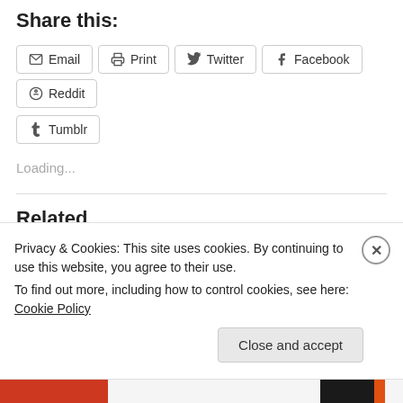Share this:
Email  Print  Twitter  Facebook  Reddit
Tumblr
Loading...
Related
Which Republican Will You Vote For?
October 16, 2012
In "Barack Obama"
Privacy & Cookies: This site uses cookies. By continuing to use this website, you agree to their use.
To find out more, including how to control cookies, see here: Cookie Policy
Close and accept